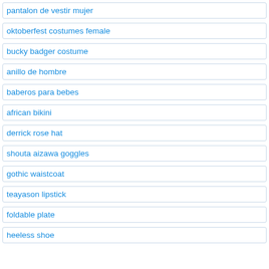pantalon de vestir mujer
oktoberfest costumes female
bucky badger costume
anillo de hombre
baberos para bebes
african bikini
derrick rose hat
shouta aizawa goggles
gothic waistcoat
teayason lipstick
foldable plate
heeless shoe